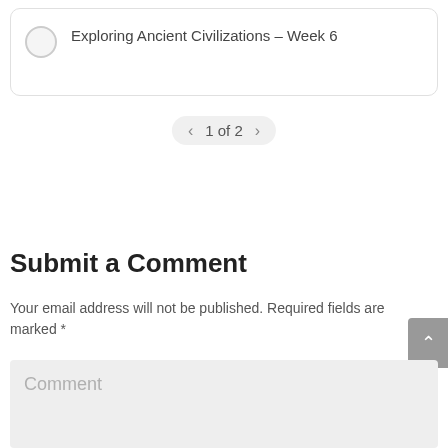Exploring Ancient Civilizations – Week 6
1 of 2
Submit a Comment
Your email address will not be published. Required fields are marked *
Comment